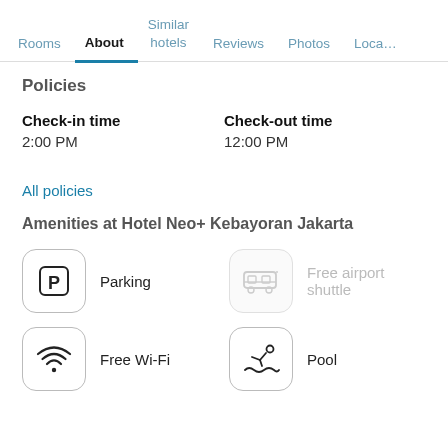Rooms | About | Similar hotels | Reviews | Photos | Loca…
Policies
Check-in time
2:00 PM
Check-out time
12:00 PM
All policies
Amenities at Hotel Neo+ Kebayoran Jakarta
[Figure (infographic): Amenity icons grid: Parking (P icon, active), Free airport shuttle (bus icon, grayed out), Free Wi-Fi (wifi icon, active), Pool (pool icon, active)]